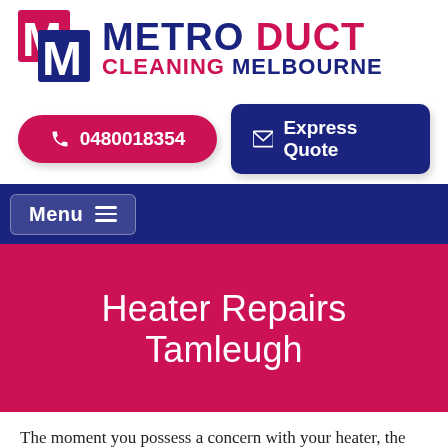[Figure (logo): Metro Duct Cleaning Melbourne logo with stylized M icon in red and blue, text 'METRO DUCT' in dark blue/red and 'CLEANING MELBOURNE' below]
0480018354
Express Quote
Menu
Heater Repairs Tamleugh
The moment you possess a concern with your heater, the initial action is to call a trade...